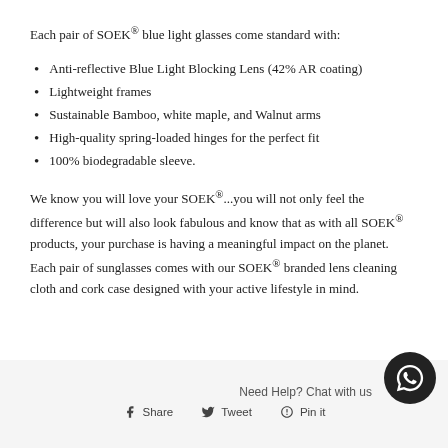Each pair of SOEK® blue light glasses come standard with:
Anti-reflective Blue Light Blocking Lens (42% AR coating)
Lightweight frames
Sustainable Bamboo, white maple, and Walnut arms
High-quality spring-loaded hinges for the perfect fit
100% biodegradable sleeve.
We know you will love your SOEK®...you will not only feel the difference but will also look fabulous and know that as with all SOEK® products, your purchase is having a meaningful impact on the planet. Each pair of sunglasses comes with our SOEK® branded lens cleaning cloth and cork case designed with your active lifestyle in mind.
Need Help? Chat with us
Share  Tweet  Pin it